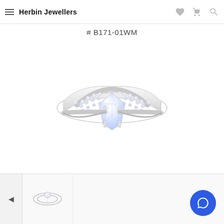Herbin Jewellers
# B171-01WM
[Figure (photo): A diamond engagement ring with a large round center stone set in a four-prong setting, with triple-row pavé diamond band shoulders in white gold/platinum. Brand inscription visible on the inside of the band.]
[Figure (photo): Small thumbnail image of the same ring viewed from a different angle (top/side view).]